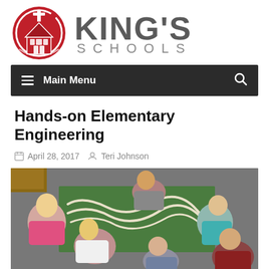[Figure (logo): King's Schools logo: red circular emblem with white cross and church silhouette, next to text 'KING'S SCHOOLS' in gray lettering]
[Figure (screenshot): Dark navigation bar with hamburger menu icon, 'Main Menu' text in white, and a search magnifier icon on the right]
Hands-on Elementary Engineering
April 28, 2017   Teri Johnson
[Figure (photo): Children sitting on a carpeted floor gathered around a green board/mat with what appears to be a marble or ball run track made of white tubing/strips, engaged in a hands-on engineering activity]